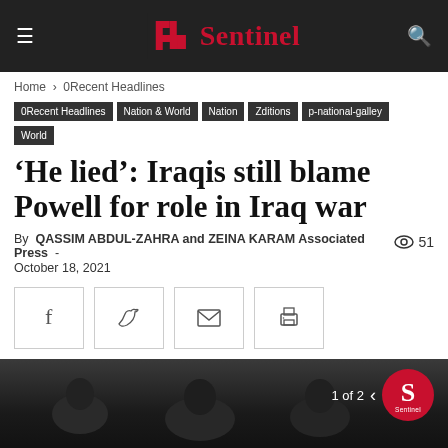Sentinel
Home › 0Recent Headlines
0Recent Headlines
Nation & World
Nation
Zditions
p-national-galley
World
'He lied': Iraqis still blame Powell for role in Iraq war
By QASSIM ABDUL-ZAHRA and ZEINA KARAM Associated Press - October 18, 2021  👁 51
[Figure (screenshot): Social share buttons: Facebook, Twitter, Email, Print]
[Figure (photo): Photo of people in suits, labeled 1 of 2, with Sentinel logo badge]